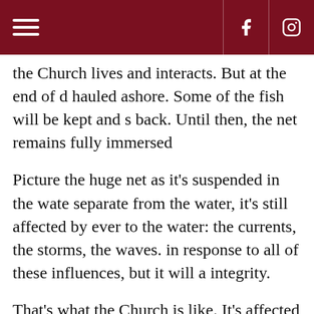Navigation header with hamburger menu, Facebook and Instagram icons
the Church lives and interacts. But at the end of d hauled ashore. Some of the fish will be kept and s back. Until then, the net remains fully immersed
Picture the huge net as it's suspended in the wate separate from the water, it's still affected by ever to the water: the currents, the storms, the waves. in response to all of these influences, but it will a integrity.
That's what the Church is like. It's affected by th around us, but it's never weakened or broken by